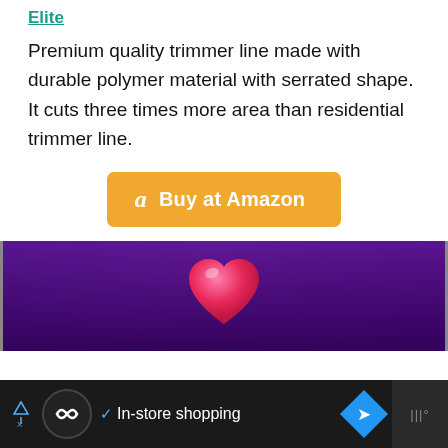Elite
Premium quality trimmer line made with durable polymer material with serrated shape. It cuts three times more area than residential trimmer line.
[Figure (other): Orange 'Buy at Amazon' button with Amazon logo 'a' icon]
[Figure (other): Dark purple/violet banner with a pink heart emoji centered]
In-store shopping